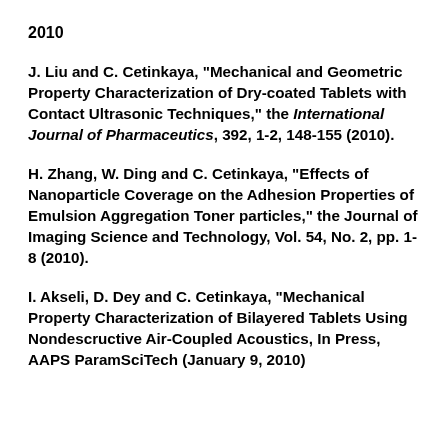2010
J. Liu and C. Cetinkaya, "Mechanical and Geometric Property Characterization of Dry-coated Tablets with Contact Ultrasonic Techniques," the International Journal of Pharmaceutics, 392, 1-2, 148-155 (2010).
H. Zhang, W. Ding and C. Cetinkaya, "Effects of Nanoparticle Coverage on the Adhesion Properties of Emulsion Aggregation Toner particles," the Journal of Imaging Science and Technology, Vol. 54, No. 2, pp. 1-8 (2010).
I. Akseli, D. Dey and C. Cetinkaya, "Mechanical Property Characterization of Bilayered Tablets Using Nondescructive Air-Coupled Acoustics, In Press, AAPS ParamSciTech (January 9, 2010)